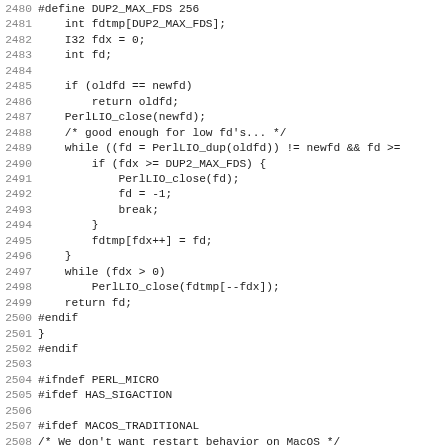Source code lines 2480-2512, C/Perl source code fragment showing dup2 implementation and signal handling macros